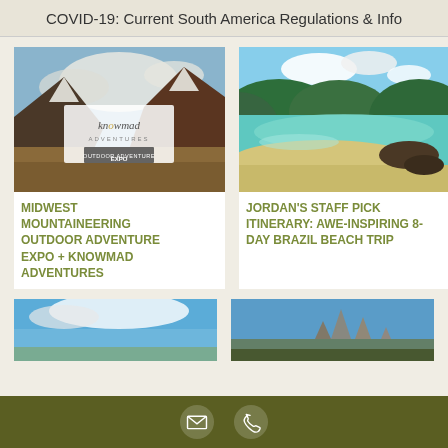COVID-19: Current South America Regulations & Info
[Figure (photo): Mountain landscape with knowmad adventures branding and outdoor adventure expo logo overlay]
[Figure (photo): Tropical beach scene with turquoise water, sandy shore, and green forested hills]
MIDWEST MOUNTAINEERING OUTDOOR ADVENTURE EXPO + KNOWMAD ADVENTURES
JORDAN'S STAFF PICK ITINERARY: AWE-INSPIRING 8-DAY BRAZIL BEACH TRIP
[Figure (photo): Blue sky with white clouds, partial view of landscape]
[Figure (photo): Mountain peaks (Torres del Paine style) with blue sky]
Email and phone contact icons